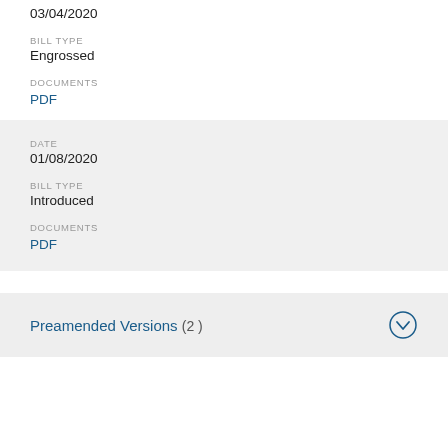03/04/2020
BILL TYPE
Engrossed
DOCUMENTS
PDF
DATE
01/08/2020
BILL TYPE
Introduced
DOCUMENTS
PDF
Preamended Versions (2)